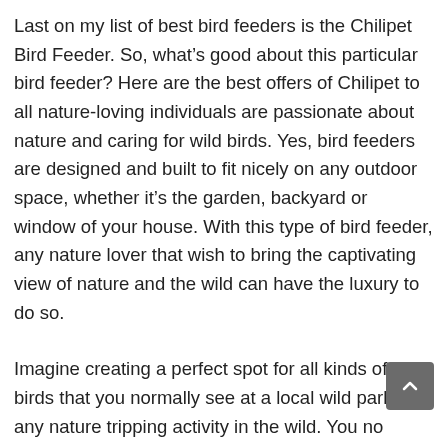Last on my list of best bird feeders is the Chilipet Bird Feeder. So, what's good about this particular bird feeder? Here are the best offers of Chilipet to all nature-loving individuals are passionate about nature and caring for wild birds. Yes, bird feeders are designed and built to fit nicely on any outdoor space, whether it's the garden, backyard or window of your house. With this type of bird feeder, any nature lover that wish to bring the captivating view of nature and the wild can have the luxury to do so.
Imagine creating a perfect spot for all kinds of wild birds that you normally see at a local wild park or any nature tripping activity in the wild. You no longer have to spend more on gas, food and wild park fees just to